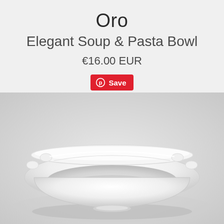Oro
Elegant Soup & Pasta Bowl
€16.00 EUR
[Figure (other): Red Pinterest Save button with Pinterest logo icon]
[Figure (photo): White ceramic elegant soup and pasta bowl with scalloped edges and decorative rim, photographed on a light grey background]